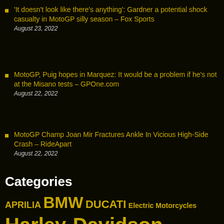'It doesn't look like there's anything': Gardner a potential shock casualty in MotoGP silly season – Fox Sports
August 23, 2022
MotoGP, Puig hopes in Marquez: It would be a problem if he's not at the Misano tests – GPOne.com
August 22, 2022
MotoGP Champ Joan Mir Fractures Ankle In Vicious High-Side Crash – RideApart
August 22, 2022
Categories
APRILIA BMW DUCATI Electric Motorcycles Harley-Davidson HONDA Indian motorcycle KAWASAKI KTM MV AGUSTA